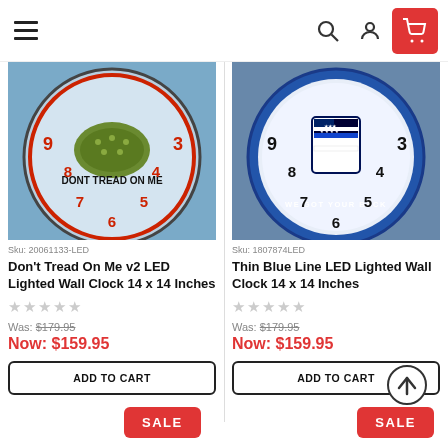Navigation bar with hamburger menu, search, account, and cart icons
[Figure (photo): Don't Tread On Me LED wall clock with Gadsden flag snake design, showing numbers 3-9 on clock face]
Sku: 20061133-LED
Don't Tread On Me v2 LED Lighted Wall Clock 14 x 14 Inches
Was: $179.95
Now: $159.95
[Figure (photo): Thin Blue Line LED wall clock with police shield and 'We Got Your Back' text, showing numbers 3-9 on clock face]
Sku: 1807874LED
Thin Blue Line LED Lighted Wall Clock 14 x 14 Inches
Was: $179.95
Now: $159.95